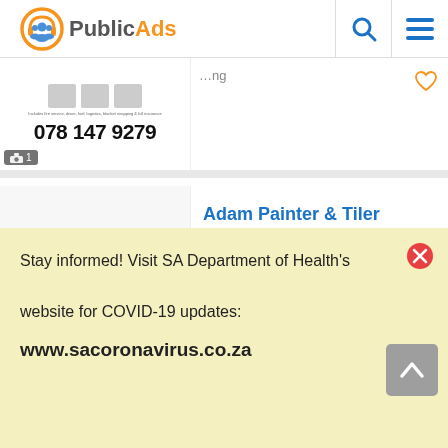PublicAds
[Figure (screenshot): Partial listing card with phone number 078 147 9279 and camera icon badge showing count 1]
Adam Painter & Tiler 0616009219
City Centre | Building and Trades
13 hours ago
GAS INSTALLER DOMESTIC & COMMERCIAL
Stay informed! Visit SA Department of Health's website for COVID-19 updates:
www.sacoronavirus.co.za